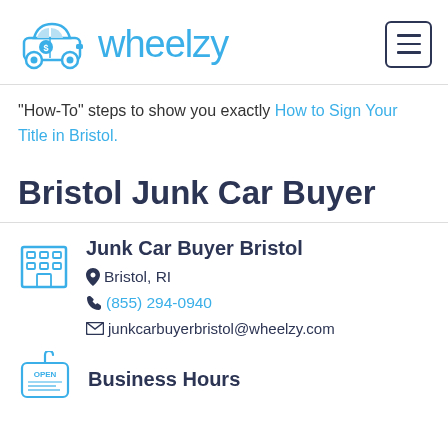wheelzy
“How-To” steps to show you exactly How to Sign Your Title in Bristol.
Bristol Junk Car Buyer
Junk Car Buyer Bristol
Bristol, RI
(855) 294-0940
junkcarbuyerbristol@wheelzy.com
Business Hours